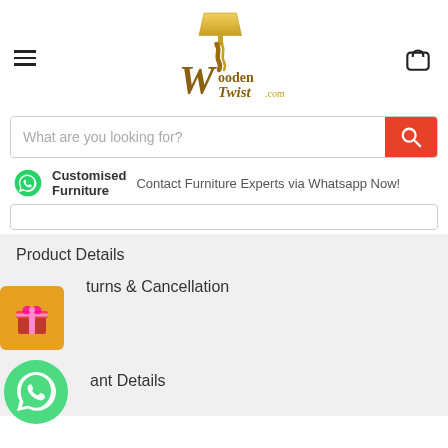[Figure (logo): WoodenTwist.com logo with lamp and stylized W]
What are you looking for?
Customised Furniture — Contact Furniture Experts via Whatsapp Now!
Product Details
[Figure (illustration): Orange/yellow gift box button icon]
Returns & Cancellation
[Figure (illustration): WhatsApp green circular icon]
ant Details